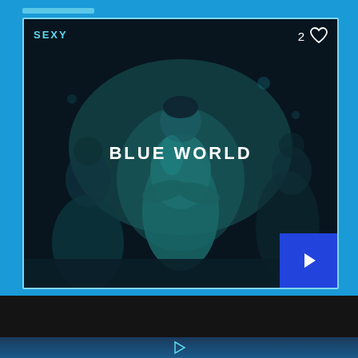[Figure (screenshot): Media player app card showing a nightclub scene with a woman standing in blue-tinted lighting. Card has 'SEXY' label in top-left, '2' with heart icon in top-right, 'BLUE WORLD' title in center, and a blue play button in bottom-right corner.]
SEXY
2
BLUE WORLD